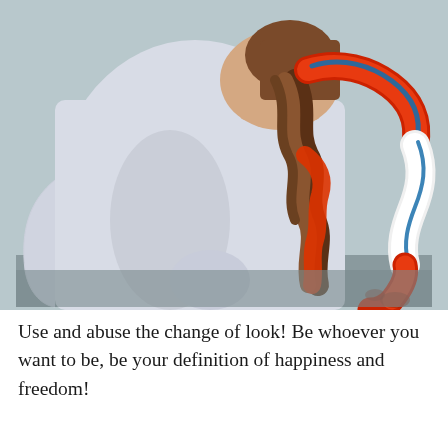[Figure (photo): Back view of a person with braided hair woven with a red, white, and blue patterned scarf/bandana, wearing a white long-sleeve shirt, against a light blue-grey wall background.]
Use and abuse the change of look! Be whoever you want to be, be your definition of happiness and freedom!